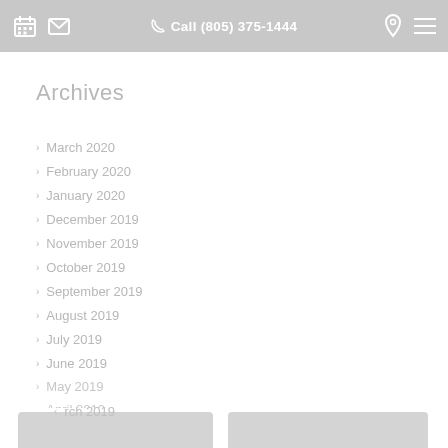Call (805) 375-1444
Archives
March 2020
February 2020
January 2020
December 2019
November 2019
October 2019
September 2019
August 2019
July 2019
June 2019
May 2019
April 2019
March 2019